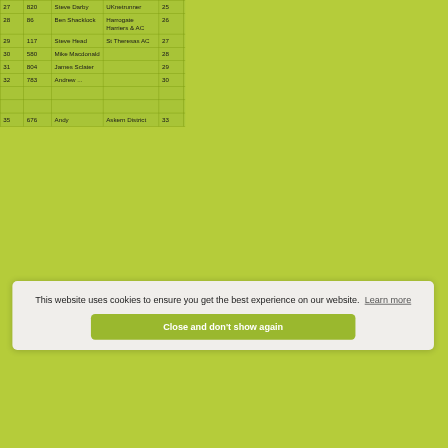| Pos | No | Name | Club | Cat Pos |  | Cat | Time |
| --- | --- | --- | --- | --- | --- | --- | --- |
| 27 | 820 | Steve Darby | UKnetrunner | 25 |  | M50 | 00:38 |
| 28 | 86 | Ben Shacklock | Harrogate Harriers & AC | 26 |  | M S | 00:38 |
| 29 | 117 | Steve Head | St Theresas AC | 27 |  | M45 | 00:38 |
| 30 | 580 | Mike Macdonald |  | 28 |  | M40 | 00:38 |
| 31 | 804 | James Sclater |  | 29 |  | M S | 00:38 |
| 32 | 783 | Andrew ... |  | 30 |  | M S | 00:38 |
|  |  |  |  |  |  |  | 00:38 |
|  |  |  |  |  |  |  | 00:38 |
| 35 | 676 | Andy | Askern District | 33 |  | M55 | 00:38 |
This website uses cookies to ensure you get the best experience on our website. Learn more
Close and don't show again